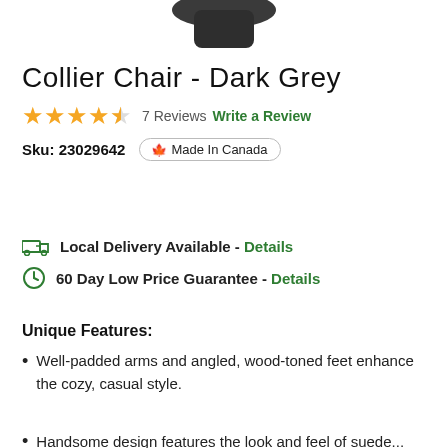[Figure (photo): Top portion of a dark grey chair, cropped at the top of the page]
Collier Chair - Dark Grey
★★★★½  7 Reviews  Write a Review
Sku: 23029642  🍁 Made In Canada
Local Delivery Available - Details
60 Day Low Price Guarantee - Details
Unique Features:
Well-padded arms and angled, wood-toned feet enhance the cozy, casual style.
Handsome design features the look and feel of suede...